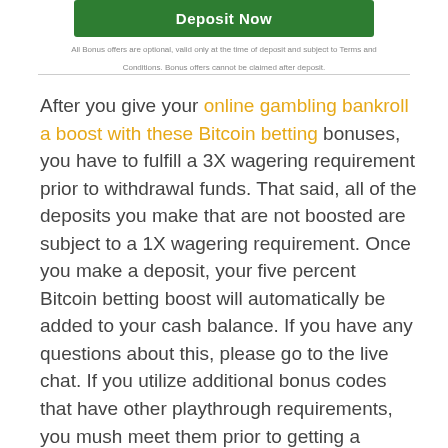[Figure (other): Green 'Deposit Now' button]
All Bonus offers are optional, valid only at the time of deposit and subject to Terms and Conditions. Bonus offers cannot be claimed after deposit.
After you give your online gambling bankroll a boost with these Bitcoin betting bonuses, you have to fulfill a 3X wagering requirement prior to withdrawal funds. That said, all of the deposits you make that are not boosted are subject to a 1X wagering requirement. Once you make a deposit, your five percent Bitcoin betting boost will automatically be added to your cash balance. If you have any questions about this, please go to the live chat. If you utilize additional bonus codes that have other playthrough requirements, you mush meet them prior to getting a payout. Having said that, you have until September 17, 2020, to take advantage of this Bitcoin betting boost. Lastly, please read the terms and conditions for yourself for all bonus promotions on every real money gambling site to make sure you understand